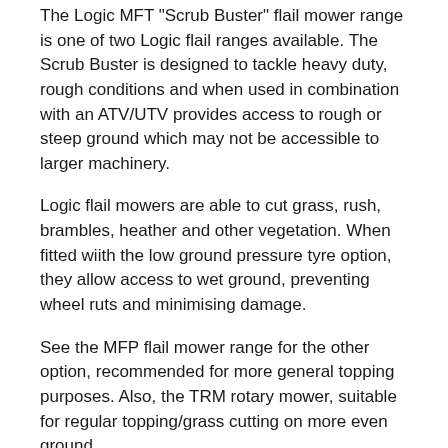The Logic MFT "Scrub Buster" flail mower range is one of two Logic flail ranges available. The Scrub Buster is designed to tackle heavy duty, rough conditions and when used in combination with an ATV/UTV provides access to rough or steep ground which may not be accessible to larger machinery.
Logic flail mowers are able to cut grass, rush, brambles, heather and other vegetation. When fitted wiith the low ground pressure tyre option, they allow access to wet ground, preventing wheel ruts and minimising damage.
See the MFP flail mower range for the other option, recommended for more general topping purposes. Also, the TRM rotary mower, suitable for regular topping/grass cutting on more even ground
If you are unsure about which option is suitable for your requirements, please refer to our video section,